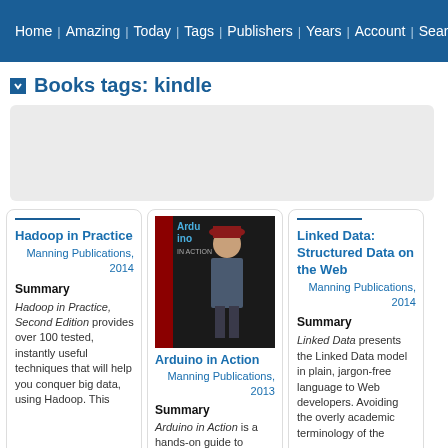Home | Amazing | Today | Tags | Publishers | Years | Account | Search
Books tags: kindle
[Figure (other): Gray advertisement or content placeholder box]
Hadoop in Practice
Manning Publications, 2014
Summary
Hadoop in Practice, Second Edition provides over 100 tested, instantly useful techniques that will help you conquer big data, using Hadoop. This
[Figure (photo): Book cover of Arduino in Action showing a person in a hat and coat]
Arduino in Action
Manning Publications, 2013
Summary
Arduino in Action is a hands-on guide to prototyping and building electronics using the Arduino
Linked Data: Structured Data on the Web
Manning Publications, 2014
Summary
Linked Data presents the Linked Data model in plain, jargon-free language to Web developers. Avoiding the overly academic terminology of the